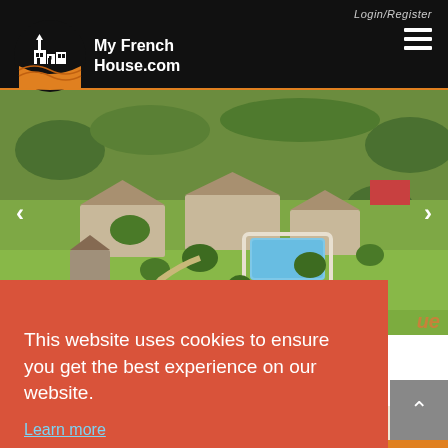Login/Register
[Figure (logo): My French House.com logo with church/building illustration on orange circle background]
[Figure (photo): Aerial view of a French property with stone farm buildings, swimming pool, and surrounding green fields and trees]
Ref: MFH-AES10254-BGC
This website uses cookies to ensure you get the best experience on our website.
Learn more
Got it!